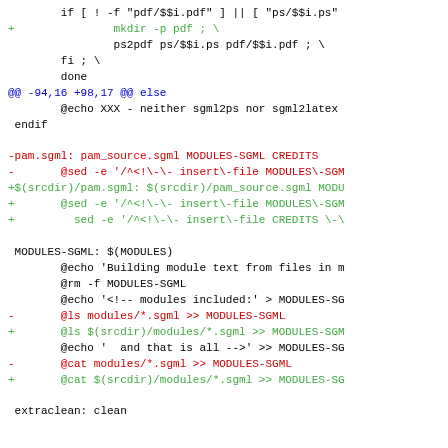Diff/patch code block showing changes to a Makefile with git diff format